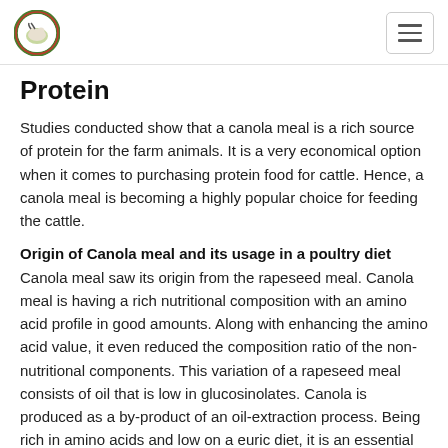[Logo] [Hamburger menu]
Protein
Studies conducted show that a canola meal is a rich source of protein for the farm animals. It is a very economical option when it comes to purchasing protein food for cattle. Hence, a canola meal is becoming a highly popular choice for feeding the cattle.
Origin of Canola meal and its usage in a poultry diet Canola meal saw its origin from the rapeseed meal. Canola meal is having a rich nutritional composition with an amino acid profile in good amounts. Along with enhancing the amino acid value, it even reduced the composition ratio of the non-nutritional components. This variation of a rapeseed meal consists of oil that is low in glucosinolates. Canola is produced as a by-product of an oil-extraction process. Being rich in amino acids and low on a euric diet, it is an essential inclusive in any poultry diet. The most common usage of canola meal is seen in the diet of a laying hen. It can also be used for ducks,